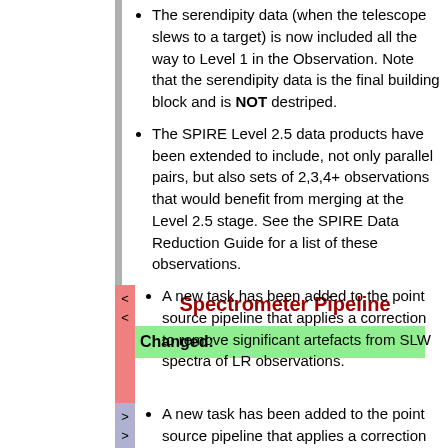The serendipity data (when the telescope slews to a target) is now included all the way to Level 1 in the Observation. Note that the serendipity data is the final building block and is NOT destriped.
The SPIRE Level 2.5 data products have been extended to include, not only parallel pairs, but also sets of 2,3,4+ observations that would benefit from merging at the Level 2.5 stage. See the SPIRE Data Reduction Guide for a list of these observations.
Spectrometer Pipeline
Changed:
A new task has been added to the point source pipeline that applies a correction to remove significant artefacts from SLW spectra of LR observations.
A new task has been added to the point source pipeline that applies a correction to